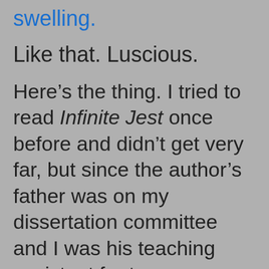swelling.
Like that. Luscious.
Here’s the thing. I tried to read Infinite Jest once before and didn’t get very far, but since the author’s father was on my dissertation committee and I was his teaching assistant for two courses, and since I have read DWF’s short stories and essays with appreciation and admiration and enjoyment, I really wanted to read the novel, and so I began again this fall. It was heavy going at first. Although I did not find it as daunting as on the first attempt, and